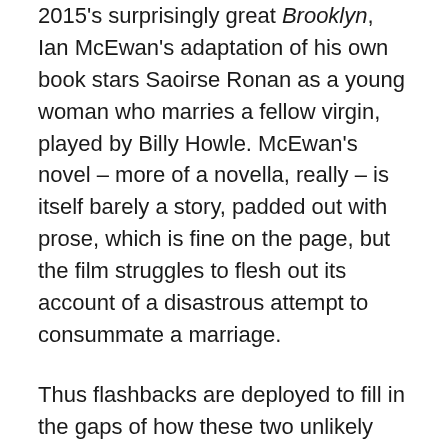2015's surprisingly great Brooklyn, Ian McEwan's adaptation of his own book stars Saoirse Ronan as a young woman who marries a fellow virgin, played by Billy Howle. McEwan's novel – more of a novella, really – is itself barely a story, padded out with prose, which is fine on the page, but the film struggles to flesh out its account of a disastrous attempt to consummate a marriage.
Thus flashbacks are deployed to fill in the gaps of how these two unlikely souls fell in love. It's not really enough, though, with repetition, clichés and a perhaps unwise subplot about mental illness subtracting from the fine acting work. Dominic Cooke, primarily a theatre director, does a decent job at presenting the romance in widescreen – sometimes by using the size of the frame to visualise the gulf between the couple. But someone should have stepped in to prevent the cataclysmic